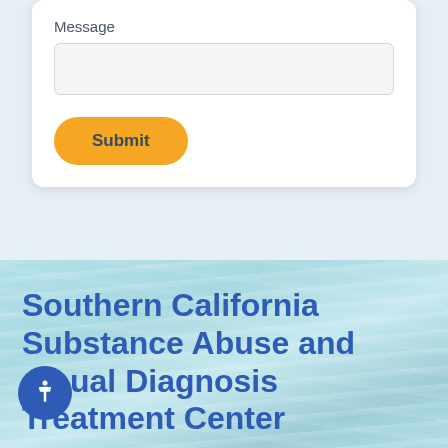Message
[Figure (screenshot): Empty text input field for message]
Submit
Southern California Substance Abuse and Dual Diagnosis Treatment Center